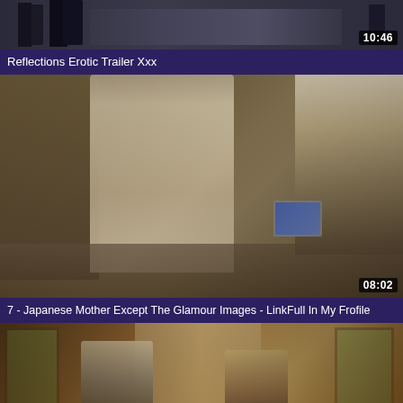[Figure (screenshot): Video thumbnail showing indoor scene with dark background, duration 10:46]
Reflections Erotic Trailer Xxx
[Figure (screenshot): Video thumbnail showing two figures in a room, woman in white clothes and man seated, duration 08:02]
7 - Japanese Mother Except The Glamour Images - LinkFull In My Frofile
[Figure (screenshot): Video thumbnail showing two people facing each other near decorative glass doors with outdoor foliage visible]